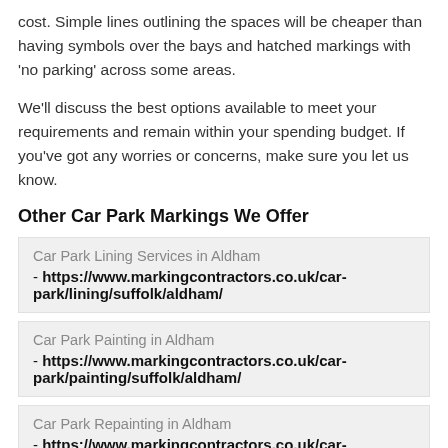cost. Simple lines outlining the spaces will be cheaper than having symbols over the bays and hatched markings with 'no parking' across some areas.
We'll discuss the best options available to meet your requirements and remain within your spending budget. If you've got any worries or concerns, make sure you let us know.
Other Car Park Markings We Offer
Car Park Lining Services in Aldham - https://www.markingcontractors.co.uk/car-park/lining/suffolk/aldham/
Car Park Painting in Aldham - https://www.markingcontractors.co.uk/car-park/painting/suffolk/aldham/
Car Park Repainting in Aldham - https://www.markingcontractors.co.uk/car-park/repainting/suffolk/aldham/